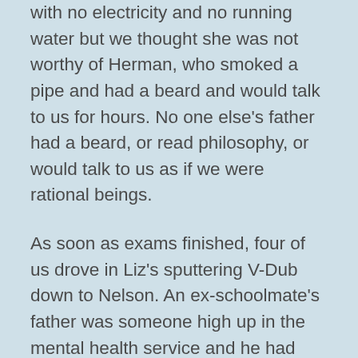with no electricity and no running water but we thought she was not worthy of Herman, who smoked a pipe and had a beard and would talk to us for hours. No one else's father had a beard, or read philosophy, or would talk to us as if we were rational beings.
As soon as exams finished, four of us drove in Liz's sputtering V-Dub down to Nelson. An ex-schoolmate's father was someone high up in the mental health service and he had suggested that nurse-aiding in psychiatric hospitals was a lucrative way of earning money in the holidays. And it was. Double-time, time–and-a-half, triple-time at Christmas and New Year. We applied at the Mental Health offices and were allotted positions down in Nelson. None of us had been to